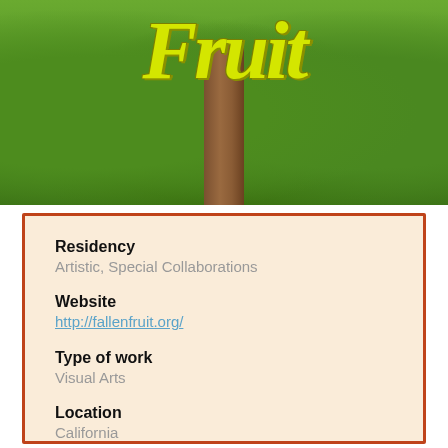[Figure (photo): Photo of a person in a brown robe/dress standing outdoors surrounded by lush green vegetation, with large yellow gothic-style text reading 'Fruit' overlaid across the top of the image.]
Residency
Artistic,  Special Collaborations
Website
http://fallenfruit.org/
Type of work
Visual Arts
Location
California